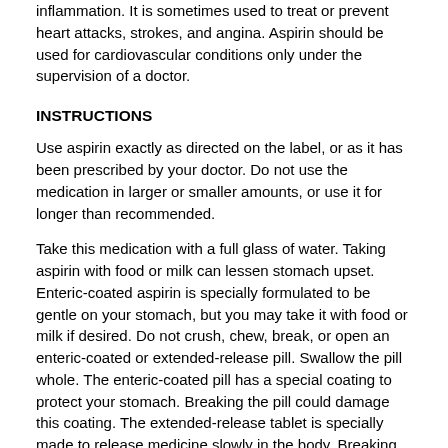inflammation. It is sometimes used to treat or prevent heart attacks, strokes, and angina. Aspirin should be used for cardiovascular conditions only under the supervision of a doctor.
INSTRUCTIONS
Use aspirin exactly as directed on the label, or as it has been prescribed by your doctor. Do not use the medication in larger or smaller amounts, or use it for longer than recommended.
Take this medication with a full glass of water. Taking aspirin with food or milk can lessen stomach upset. Enteric-coated aspirin is specially formulated to be gentle on your stomach, but you may take it with food or milk if desired. Do not crush, chew, break, or open an enteric-coated or extended-release pill. Swallow the pill whole. The enteric-coated pill has a special coating to protect your stomach. Breaking the pill could damage this coating. The extended-release tablet is specially made to release medicine slowly in the body. Breaking this pill would cause too much of the drug to be released at one time.
The chewable tablet form of aspirin must be chewed before swallowing.
Keep the orally disintegrating tablet in its package until you are ready to take the medicine. Open the package and peel the back cover from the tablet. Using dry hands, place the tablet into your mouth. It will begin to dissolve right away, without water. Do not swallow the tablet whole. Allow it to